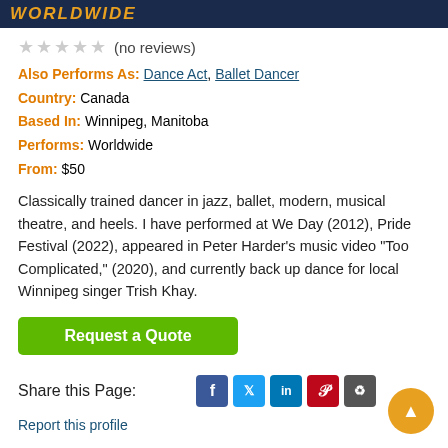WORLDWIDE
☆☆☆☆☆ (no reviews)
Also Performs As: Dance Act, Ballet Dancer
Country: Canada
Based In: Winnipeg, Manitoba
Performs: Worldwide
From: $50
Classically trained dancer in jazz, ballet, modern, musical theatre, and heels. I have performed at We Day (2012), Pride Festival (2022), appeared in Peter Harder's music video "Too Complicated," (2020), and currently back up dance for local Winnipeg singer Trish Khay.
Request a Quote
Share this Page:
Report this profile